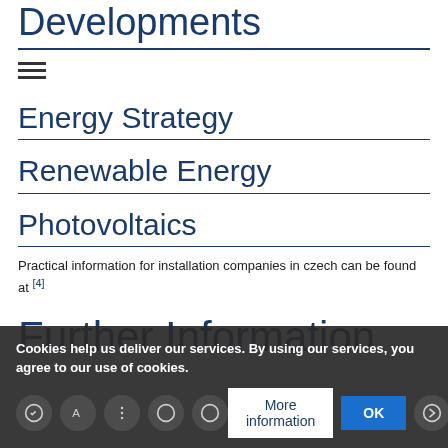Developments
Energy Strategy
Renewable Energy
Photovoltaics
Practical information for installation companies in czech can be found at [4]
Further Information
Cookies help us deliver our services. By using our services, you agree to our use of cookies.